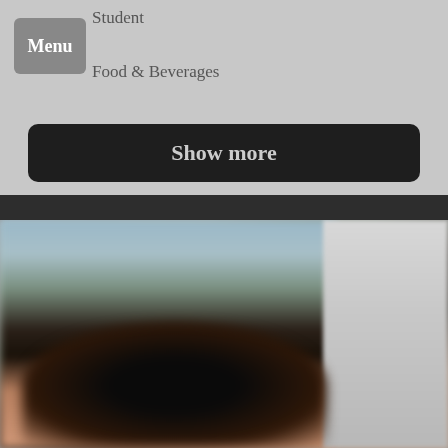Student
Food & Beverages
Show more
[Figure (photo): Blurred close-up photograph of a person with dark curly hair, with a light blue/teal blurred background on the left and a light gray panel on the right side of the frame.]